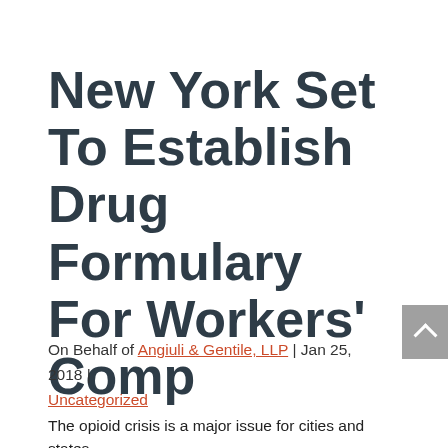New York Set To Establish Drug Formulary For Workers' Comp
On Behalf of Angiuli & Gentile, LLP | Jan 25, 2018 | Uncategorized
The opioid crisis is a major issue for cities and states